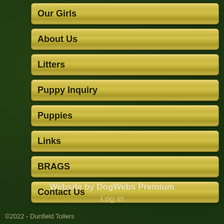Our Girls
About Us
Litters
Puppy Inquiry
Puppies
Links
BRAGS
Contact Us
Website by DogWebs Premium
Log in
©2022 - Dunfield Tollers